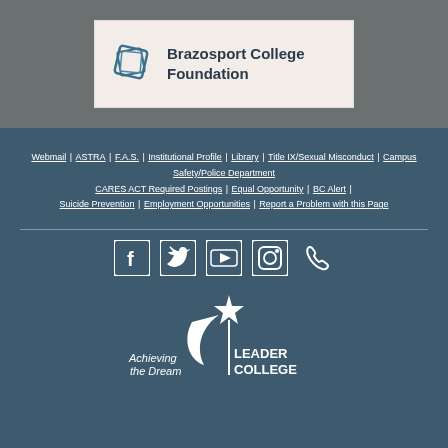[Figure (logo): Brazosport College Foundation logo card with diamond/tag icon and bold text reading 'Brazosport College Foundation' on a light beige background]
Webmail | ASTRA | F.A.S. | Institutional Profile | Library | Title IX/Sexual Misconduct | Campus Safety/Police Department CARES ACT Required Postings | Equal Opportunity | BC Alert | Suicide Prevention | Employment Opportunities | Report a Problem with this Page
[Figure (infographic): Row of social media icons: Facebook, Twitter, YouTube, Instagram, and phone icon in white on teal-blue background]
[Figure (logo): Achieving the Dream LEADER COLLEGE logo in white on teal-blue background with star and crescent shape]